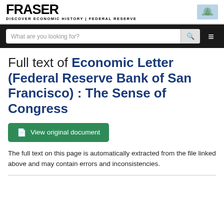FRASER | DISCOVER ECONOMIC HISTORY | FEDERAL RESERVE
[Figure (screenshot): Navigation bar with search input field 'What are you looking for?' and menu icon]
Full text of Economic Letter (Federal Reserve Bank of San Francisco) : The Sense of Congress
[Figure (other): Green button labeled 'View original document' with document icon]
The full text on this page is automatically extracted from the file linked above and may contain errors and inconsistencies.